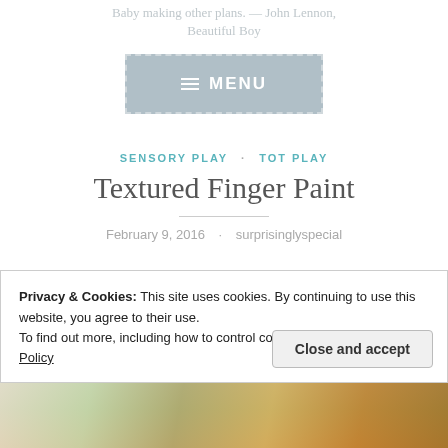Baby making other plans. — John Lennon, Beautiful Boy
[Figure (other): Navigation menu button with hamburger icon and 'MENU' text on grey background with dashed border]
SENSORY PLAY · TOT PLAY
Textured Finger Paint
February 9, 2016 · surprisinglyspecial
Privacy & Cookies: This site uses cookies. By continuing to use this website, you agree to their use.
To find out more, including how to control cookies, see here: Cookie Policy
[Figure (photo): Partial view of colorful finger paint activity photo at bottom of page]